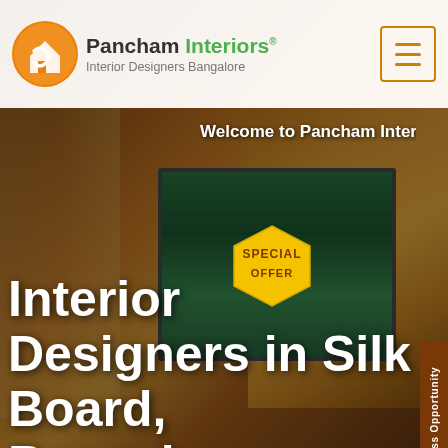Pancham Interiors® Interior Designers Bangalore
Welcome to Pancham Interi
[Figure (screenshot): Interior designers website screenshot showing a luxury living room interior with gold/brown marble wall, a large TV screen, and decorative elements. The hero section has an overlay with large white heading text.]
SPECIAL OFFER
Interior Designers in Silk Board, Bangalore
Home / Interior Designers in Silk Board, Bangalo
Business Opportunity
Offer
Enquiry
We offer Luxury Home Villa Apartment Interior Designers Services in Bangalore